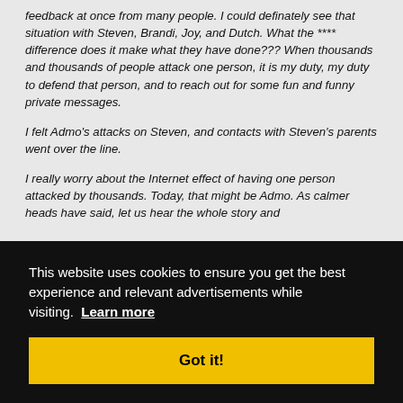feedback at once from many people. I could definately see that situation with Steven, Brandi, Joy, and Dutch. What the **** difference does it make what they have done??? When thousands and thousands of people attack one person, it is my duty, my duty to defend that person, and to reach out for some fun and funny private messages.
I felt Admo's attacks on Steven, and contacts with Steven's parents went over the line.
I really worry about the Internet effect of having one person attacked by thousands. Today, that might be Admo. As calmer heads have said, let us hear the whole story and
he
This website uses cookies to ensure you get the best experience and relevant advertisements while visiting. Learn more
Got it!
the best part is "we exchanged letters"....sweet score dude